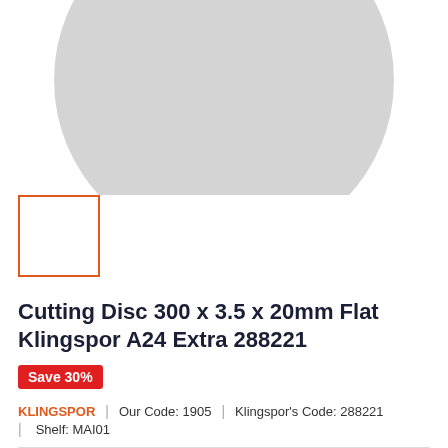[Figure (photo): Large grey cutting disc shown from above, partially cropped circle]
[Figure (photo): Small thumbnail image placeholder with orange border]
Cutting Disc 300 x 3.5 x 20mm Flat Klingspor A24 Extra 288221
Save 30%
KLINGSPOR | Our Code: 1905 | Klingspor's Code: 288221 | Shelf: MAI01
Price: £7.72  £11.04